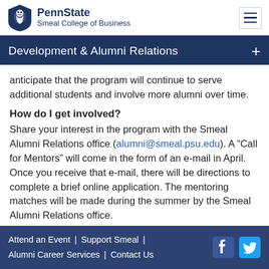PennState Smeal College of Business
Development & Alumni Relations
anticipate that the program will continue to serve additional students and involve more alumni over time.
How do I get involved?
Share your interest in the program with the Smeal Alumni Relations office (alumni@smeal.psu.edu). A “Call for Mentors” will come in the form of an e-mail in April. Once you receive that e-mail, there will be directions to complete a brief online application. The mentoring matches will be made during the summer by the Smeal Alumni Relations office.
Attend an Event | Support Smeal | Alumni Career Services | Contact Us